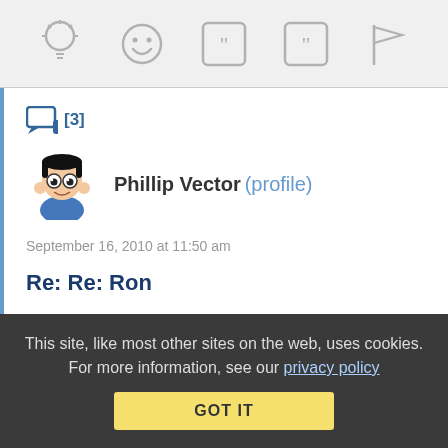[Figure (screenshot): Toolbar with icons: lightbulb, smiley face, open quote, close quote, flag]
[3]
[Figure (illustration): Avatar of Phillip Vector - cartoon character with black hair and blue shirt]
Phillip Vector (profile)
September 16, 2010 at 11:50 am
Re: Re: Ron
I've been told that I was upsetting them.. I also got called an ass by Ron.
That just makes me want to keep it up there.
This site, like most other sites on the web, uses cookies. For more information, see our privacy policy
GOT IT